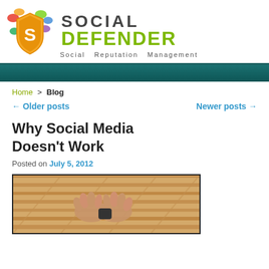[Figure (logo): Social Defender logo with shield icon and colorful speech bubbles. Text reads SOCIAL DEFENDER Social Reputation Management]
Home > Blog
← Older posts    Newer posts →
Why Social Media Doesn't Work
Posted on July 5, 2012
[Figure (photo): Photo of hands clasped or holding something on a wooden surface, viewed from above]